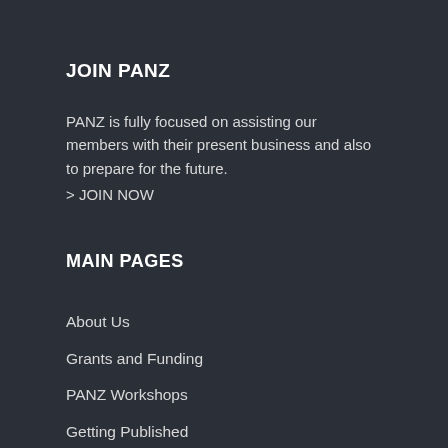JOIN PANZ
PANZ is fully focused on assisting our members with their present business and also to prepare for the future.
> JOIN NOW
MAIN PAGES
About Us
Grants and Funding
PANZ Workshops
Getting Published
Careers and Training